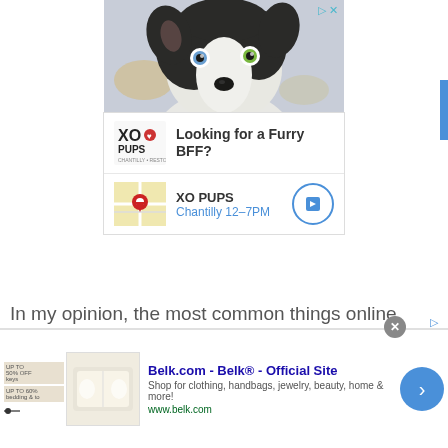[Figure (photo): Black and white Border Collie puppy with heterochromia (different colored eyes) looking directly at camera, close-up portrait]
[Figure (screenshot): XO Pups advertisement with logo, tagline 'Looking for a Furry BFF?', map thumbnail showing Chantilly location, hours 12-7PM, and navigation arrow circle button]
In my opinion, the most common things online writers need to learn are the basics of SEO, some technical aspects such as using
[Figure (screenshot): Infolinks ad bar at bottom showing Belk.com - Belk® - Official Site advertisement with product image, description 'Shop for clothing, handbags, jewelry, beauty, home & more!', URL www.belk.com, close button, and next arrow button]